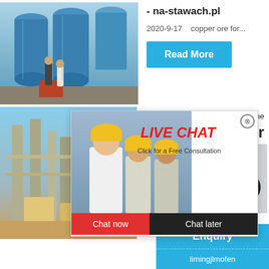[Figure (photo): Industrial factory interior with large blue cylindrical grinding machines and two workers in conversation]
- na-stawach.pl
2020-9-17   copper ore for...
Read More
[Figure (photo): Industrial plant exterior with tall vertical columns and yellow machinery]
[Figure (photo): Workers in yellow hard hats with Live Chat popup overlay]
LIVE CHAT
Click for a Free Consultation
Chat now
Chat later
hour online
er
2016-5-4
Read
Click me to chat>>
Enquiry
limingjlmofen